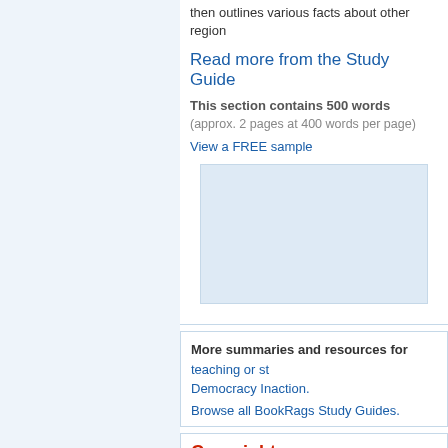then outlines various facts about other regions
Read more from the Study Guide
This section contains 500 words (approx. 2 pages at 400 words per page)
View a FREE sample
[Figure (other): Light blue advertisement placeholder box]
More summaries and resources for teaching or studying Democracy Inaction.
Browse all BookRags Study Guides.
Copyrights
[Figure (logo): BookRags Study Guide logo badge — dark blue background with eagle graphic, BOOKRAGS in white/yellow and STUDY GUIDE in white text]
America: A Citizen's Gu (c)2022 BookRags, Inc